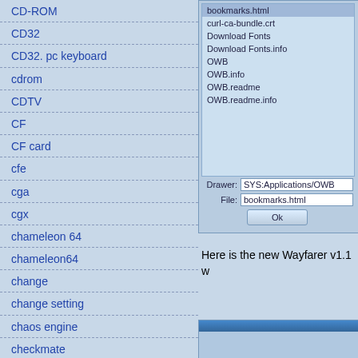CD-ROM
CD32
CD32. pc keyboard
cdrom
CDTV
CF
CF card
cfe
cga
cgx
chameleon 64
chameleon64
change
change setting
chaos engine
checkmate
checkmate 1500 mini
checkmate 1500 plus
checkmate a1500
[Figure (screenshot): File browser dialog showing a file list with bookmarks.html selected, and files: curl-ca-bundle.crt, Download Fonts, Download Fonts.info, OWB, OWB.info, OWB.readme, OWB.readme.info. Drawer field shows SYS:Applications/OWB, File field shows bookmarks.html, with an Ok button.]
Here is the new Wayfarer v1.1 w
[Figure (screenshot): Partial screenshot of a browser window at the bottom of the page.]